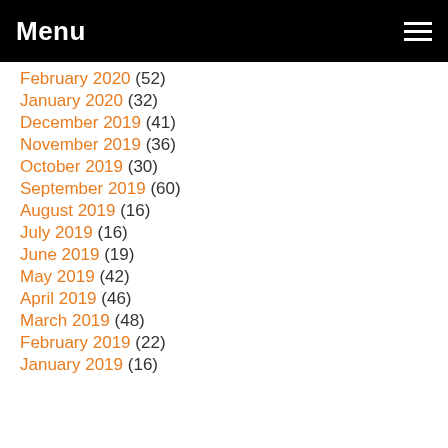Menu
February 2020 (52)
January 2020 (32)
December 2019 (41)
November 2019 (36)
October 2019 (30)
September 2019 (60)
August 2019 (16)
July 2019 (16)
June 2019 (19)
May 2019 (42)
April 2019 (46)
March 2019 (48)
February 2019 (22)
January 2019 (16)